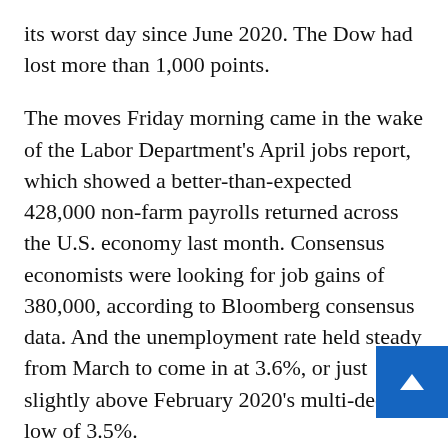its worst day since June 2020. The Dow had lost more than 1,000 points.
The moves Friday morning came in the wake of the Labor Department's April jobs report, which showed a better-than-expected 428,000 non-farm payrolls returned across the U.S. economy last month. Consensus economists were looking for job gains of 380,000, according to Bloomberg consensus data. And the unemployment rate held steady from March to come in at 3.6%, or just slightly above February 2020's multi-decade low of 3.5%.
The report suggested at least the labor portion of the U.S. economy was still on strong footing even as the Federal Reserve began its process of tightening monetary policy. Stocks had...